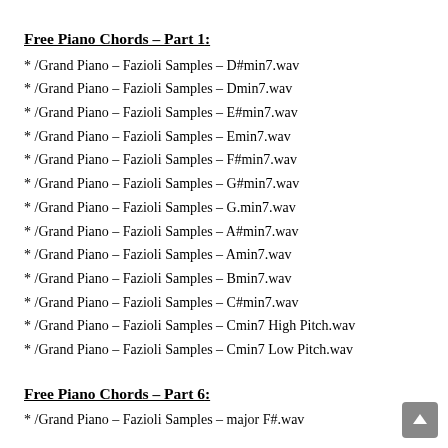Free Piano Chords – Part 1:
* /Grand Piano – Fazioli Samples – D#min7.wav
* /Grand Piano – Fazioli Samples – Dmin7.wav
* /Grand Piano – Fazioli Samples – E#min7.wav
* /Grand Piano – Fazioli Samples – Emin7.wav
* /Grand Piano – Fazioli Samples – F#min7.wav
* /Grand Piano – Fazioli Samples – G#min7.wav
* /Grand Piano – Fazioli Samples – G.min7.wav
* /Grand Piano – Fazioli Samples – A#min7.wav
* /Grand Piano – Fazioli Samples – Amin7.wav
* /Grand Piano – Fazioli Samples – Bmin7.wav
* /Grand Piano – Fazioli Samples – C#min7.wav
* /Grand Piano – Fazioli Samples – Cmin7 High Pitch.wav
* /Grand Piano – Fazioli Samples – Cmin7 Low Pitch.wav
Free Piano Chords – Part 6:
* /Grand Piano – Fazioli Samples – major F#.wav